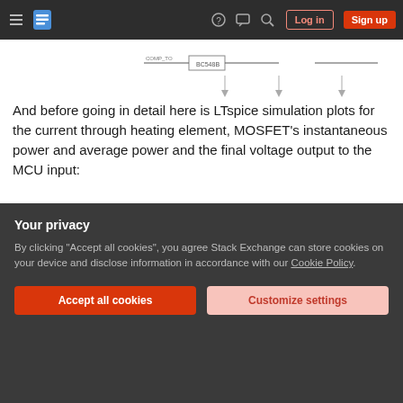Stack Exchange navigation bar with hamburger menu, logo, help, chat, search icons, Log in and Sign up buttons
[Figure (schematic): Partial LTspice schematic diagram showing component wiring (partial view, cropped)]
And before going in detail here is LTspice simulation plots for the current through heating element, MOSFET’s instantaneous power and average power and the final voltage output to the MCU input:
[Figure (screenshot): LTspice simulation waveform screenshot showing current through heating element, MOSFET instantaneous and average power, and voltage output. Blue and green waveforms on black background. Y-axis labels: 4.0V, 3.2V, 2.4V, 1.6V, 0.8V, 0.0V, 20W, 17W. A waveform properties popup is visible.]
I want to go from left to the right.